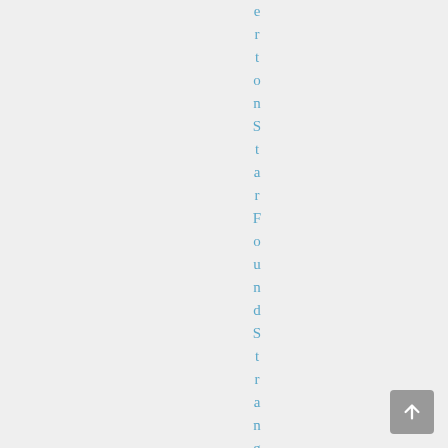ertonStarFoundStrang
[Figure (other): Scroll to top button in bottom right corner]